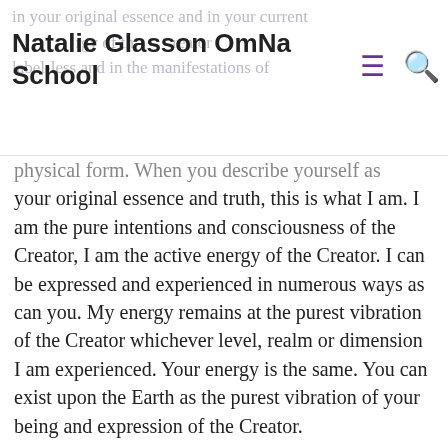Natalie Glasson OmNa School
physical form. When you describe yourself as your original essence and truth, this is what I am. I am the pure intentions and consciousness of the Creator, I am the active energy of the Creator. I can be expressed and experienced in numerous ways as can you. My energy remains at the purest vibration of the Creator whichever level, realm or dimension I am experienced. Your energy is the same. You can exist upon the Earth as the purest vibration of your being and expression of the Creator.
Within your being you have all the knowledge of the Universe of the Creator, everything is available for you to access, this means that